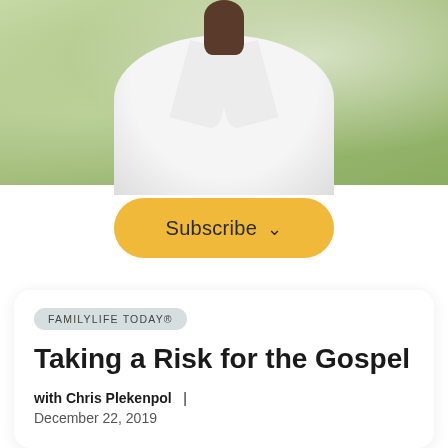[Figure (photo): Partial photo of a man in a white collared shirt with a blurred green outdoor background]
Subscribe ∨
FAMILYLIFE TODAY®
Taking a Risk for the Gospel
with Chris Plekenpol  |
December 22, 2019